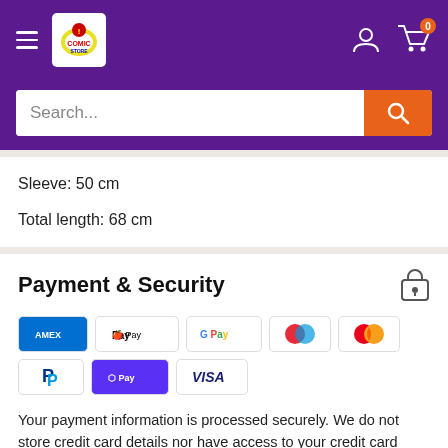[Figure (screenshot): Website header with purple background, hamburger menu icon, comic store logo, user and cart icons]
[Figure (screenshot): Search bar with white input field and orange search button]
Sleeve: 50 cm
Total length: 68 cm
Payment & Security
[Figure (infographic): Payment method logos: American Express, Apple Pay, Google Pay, Maestro, Mastercard, PayPal, Shop Pay, Visa]
Your payment information is processed securely. We do not store credit card details nor have access to your credit card information.